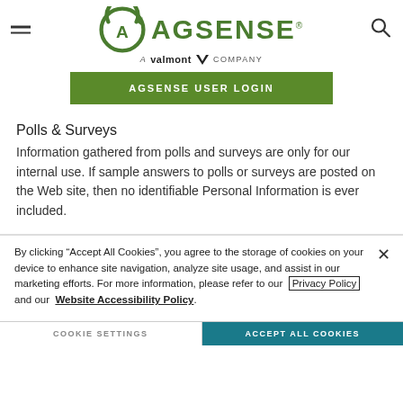[Figure (logo): AGSENSE logo with circular arrow icon in green, subtitle 'A valmont V COMPANY']
[Figure (other): AGSENSE USER LOGIN green button]
Polls & Surveys
Information gathered from polls and surveys are only for our internal use. If sample answers to polls or surveys are posted on the Web site, then no identifiable Personal Information is ever included.
By clicking "Accept All Cookies", you agree to the storage of cookies on your device to enhance site navigation, analyze site usage, and assist in our marketing efforts. For more information, please refer to our Privacy Policy and our Website Accessibility Policy.